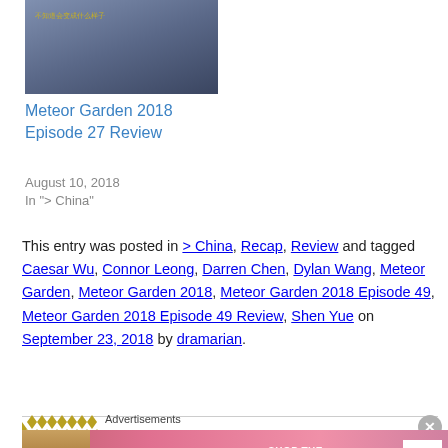[Figure (photo): Thumbnail image of a man in a suit, with Chinese text overlay]
Meteor Garden 2018 Episode 27 Review
August 10, 2018
In "> China"
This entry was posted in > China, Recap, Review and tagged Caesar Wu, Connor Leong, Darren Chen, Dylan Wang, Meteor Garden, Meteor Garden 2018, Meteor Garden 2018 Episode 49, Meteor Garden 2018 Episode 49 Review, Shen Yue on September 23, 2018 by dramarian.
[Figure (logo): Decorative gold diamond pattern logo]
Advertisements
[Figure (photo): Victoria's Secret advertisement banner with model and Shop Now button]